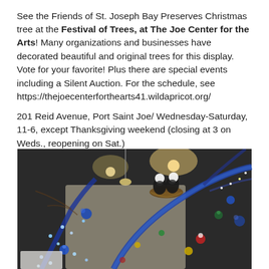See the Friends of St. Joseph Bay Preserves Christmas tree at the Festival of Trees, at The Joe Center for the Arts! Many organizations and businesses have decorated beautiful and original trees for this display. Vote for your favorite! Plus there are special events including a Silent Auction. For the schedule, see https://thejoecenterforthearts41.wildapricot.org/
201 Reid Avenue, Port Saint Joe/ Wednesday-Saturday, 11-6, except Thanksgiving weekend (closing at 3 on Weds., reopening on Sat.)
[Figure (photo): Photo of a decorated Christmas tree installation at The Joe Center for the Arts, featuring bare branches with blue lights and ornaments, and two eagle plush figures perched in a nest at the top of blue curved branches. The setting is an indoor gallery with overhead lights visible in the background.]